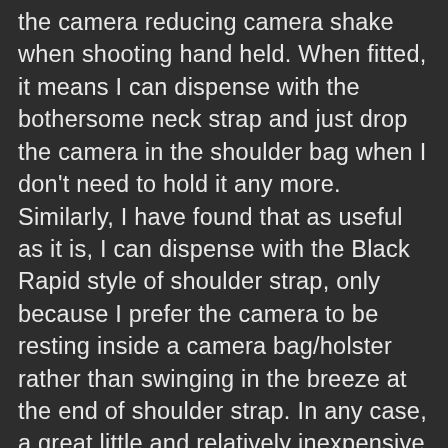the camera reducing camera shake when shooting hand held. When fitted, it means I can dispense with the bothersome neck strap and just drop the camera in the shoulder bag when I don't need to hold it any more. Similarly, I have found that as useful as it is, I can dispense with the Black Rapid style of shoulder strap, only because I prefer the camera to be resting inside a camera bag/holster rather than swinging in the breeze at the end of shoulder strap. In any case, a great little and relatively inexpensive accessory that combines usability with security and comfort. Highly recommended.